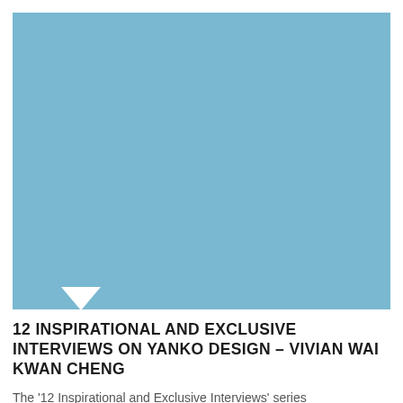[Figure (illustration): A solid light blue rectangle serving as a placeholder image, with a white downward-pointing triangle/speech-bubble tail at the bottom-left area indicating a callout or tooltip pointer.]
12 INSPIRATIONAL AND EXCLUSIVE INTERVIEWS ON YANKO DESIGN – VIVIAN WAI KWAN CHENG
The '12 Inspirational and Exclusive Interviews' series